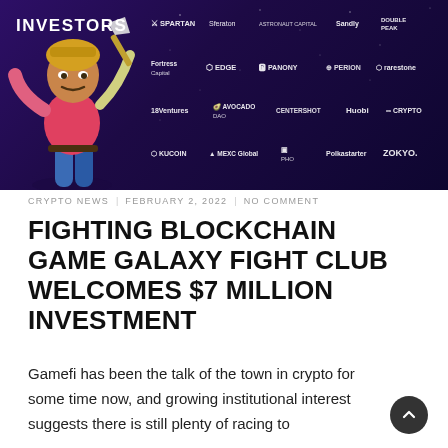[Figure (infographic): Dark purple banner image showing a 3D game character holding a weapon on the left with the word INVESTORS above, and a grid of investor/partner logos on the right including Spartan, Sfereion, Sandly, Double Peak, Fortress Capital, EDGE, PANONY, PERION, Rarestone, 18Ventures, Avocado DAO, Centershot, Huobi, KuCoin, MEXC Global, PHD, Polkastarter, ZOKYO]
CRYPTO NEWS | FEBRUARY 2, 2022 | NO COMMENT
FIGHTING BLOCKCHAIN GAME GALAXY FIGHT CLUB WELCOMES $7 MILLION INVESTMENT
Gamefi has been the talk of the town in crypto for some time now, and growing institutional interest suggests there is still plenty of racing to